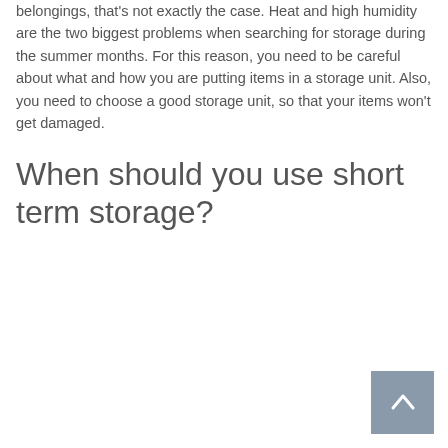belongings, that's not exactly the case. Heat and high humidity are the two biggest problems when searching for storage during the summer months. For this reason, you need to be careful about what and how you are putting items in a storage unit. Also, you need to choose a good storage unit, so that your items won't get damaged.
When should you use short term storage?